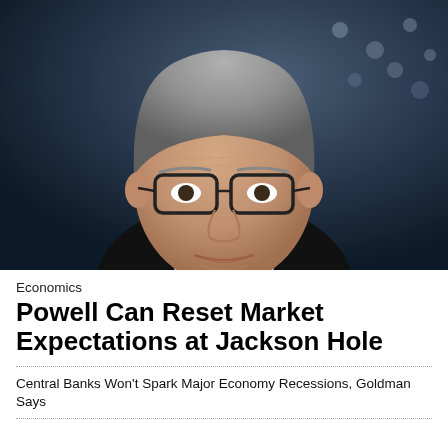[Figure (photo): Close-up photo of a gray-haired man wearing glasses and a dark suit with a purple tie, speaking, with an American flag blurred in the background. The subject appears to be Federal Reserve Chair Jerome Powell.]
Economics
Powell Can Reset Market Expectations at Jackson Hole
Central Banks Won't Spark Major Economy Recessions, Goldman Says